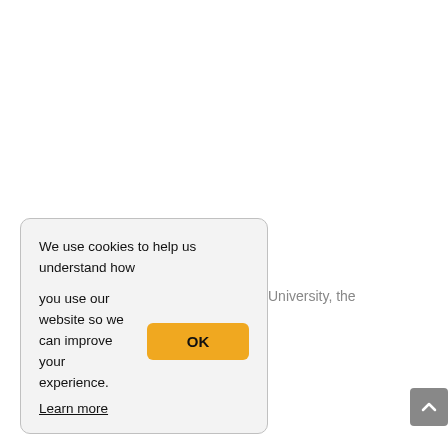University, the
We use cookies to help us understand how you use our website so we can improve your experience. Learn more